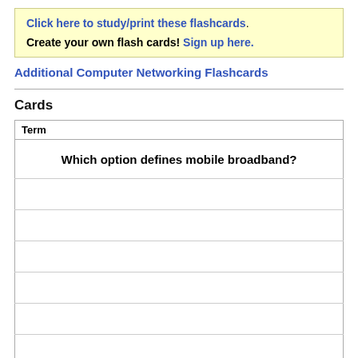Click here to study/print these flashcards. Create your own flash cards! Sign up here.
Additional Computer Networking Flashcards
Cards
| Term |
| --- |
| Which option defines mobile broadband? |
|  |
|  |
|  |
|  |
|  |
|  |